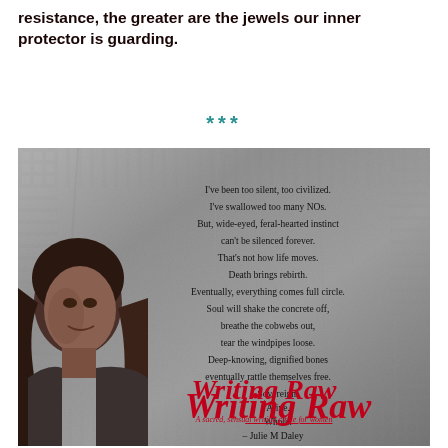resistance, the greater are the jewels our inner protector is guarding.
***
[Figure (photo): Book promotional image with gray textured background, woman's face (Julie M Daley) on lower left, poem text overlaid in center-right, and 'Writing Raw' title in red at bottom with subtitle 'A sacred, sensual writing circle for women']